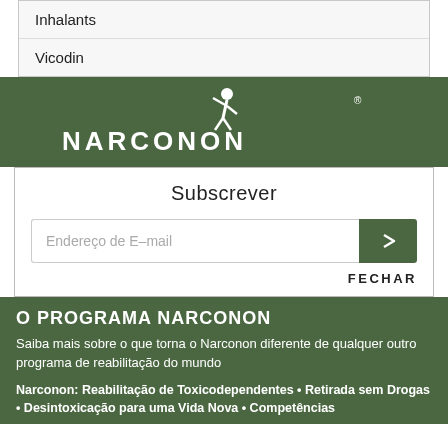| Inhalants |
| Vicodin |
[Figure (logo): Narconon logo with stylized running figure and brand name]
Subscrever
Endereço de E-mail
FECHAR
O PROGRAMA NARCONON
Saiba mais sobre o que torna o Narconon diferente de qualquer outro programa de reabilitação do mundo
Narconon: Reabilitação de Toxicodependentes • Retirada sem Drogas • Desintoxicação para uma Vida Nova • Competências